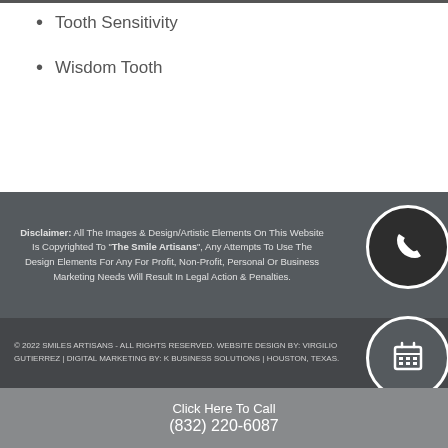Tooth Sensitivity
Wisdom Tooth
[Figure (other): Accessibility icon button (blue background with person in circle symbol)]
Disclaimer: All The Images & Design/Artistic Elements On This Website Is Copyrighted To "The Smile Artisans", Any Attempts To Use The Design Elements For Any For Profit, Non-Profit, Personal Or Business Marketing Needs Will Result In Legal Action & Penalties.
[Figure (other): Phone call circle button (dark background with phone handset icon)]
© 2022  SMILES ARTISANS - ALL RIGHTS RESERVED. WEBSITE DESIGN BY: VIRGILIO GUTIERREZ | DIGITAL MARKETING BY: K BUSINESS SOLUTIONS | HOUSTON, TEXAS.
[Figure (other): Calendar/schedule circle button (gray background with grid/table icon)]
Click Here To Call
(832) 220-6087